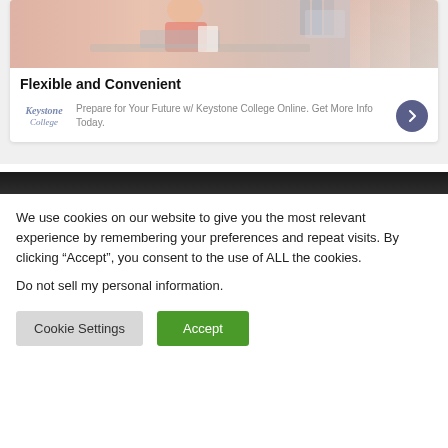[Figure (photo): Partial view of a person in a pink/coral sweater sitting at a desk with a laptop and papers, office setting with binders in background]
Flexible and Convenient
Prepare for Your Future w/ Keystone College Online. Get More Info Today.
We use cookies on our website to give you the most relevant experience by remembering your preferences and repeat visits. By clicking “Accept”, you consent to the use of ALL the cookies.
Do not sell my personal information.
Cookie Settings
Accept